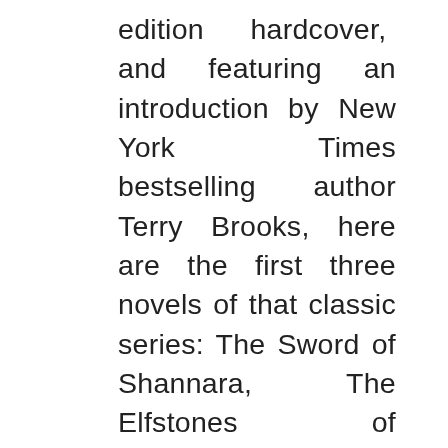edition hardcover, and featuring an introduction by New York Times bestselling author Terry Brooks, here are the first three novels of that classic series: The Sword of Shannara, The Elfstones of Shannara, and The Wishsong of Shannara—the beginning of a phenomenal epic of good and evil. The Sword of Shannara Long ago, the wars of the ancient Evil ruined the world. In peaceful Shady Vale, half-elfin Shea Ohmsford knows little of such troubles. But the supposedly dead Warlock Lord is plotting to destroy everything in his wake. The sole weapon against this Power of Darkness is the Sword of Shannara, which can be used only by a true heir of Shannara. On Shea, last of the